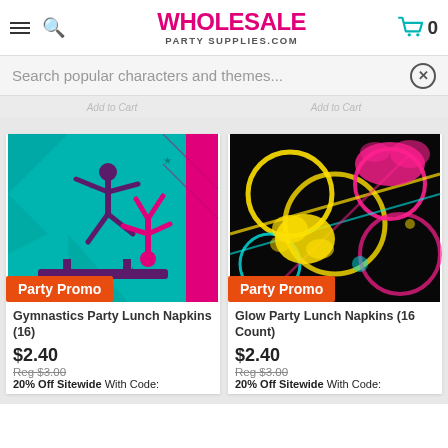WHOLESALE PARTYSUPPLIES.COM
Search popular characters and themes...
[Figure (screenshot): Gymnastics Party Lunch Napkins product image with two gymnast silhouettes on teal background with pink border and Party Promo badge]
Gymnastics Party Lunch Napkins (16)
$2.40
Reg $3.00
20% Off Sitewide With Code:
[Figure (screenshot): Glow Party Lunch Napkins product image with neon glowing rings and paint splashes on black background with Party Promo badge]
Glow Party Lunch Napkins (16 Count)
$2.40
Reg $3.00
20% Off Sitewide With Code: